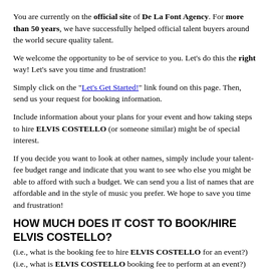You are currently on the official site of De La Font Agency. For more than 50 years, we have successfully helped official talent buyers around the world secure quality talent.
We welcome the opportunity to be of service to you. Let's do this the right way! Let's save you time and frustration!
Simply click on the "Let's Get Started!" link found on this page. Then, send us your request for booking information.
Include information about your plans for your event and how taking steps to hire ELVIS COSTELLO (or someone similar) might be of special interest.
If you decide you want to look at other names, simply include your talent-fee budget range and indicate that you want to see who else you might be able to afford with such a budget. We can send you a list of names that are affordable and in the style of music you prefer. We hope to save you time and frustration!
HOW MUCH DOES IT COST TO BOOK/HIRE ELVIS COSTELLO?
(i.e., what is the booking fee to hire ELVIS COSTELLO for an event?) (i.e., what is ELVIS COSTELLO booking fee to perform at an event?)
Official booking fees for ELVIS COSTELLO, or any other celebrity, are determined based on a number of factors and may change at anytime without prior notice.